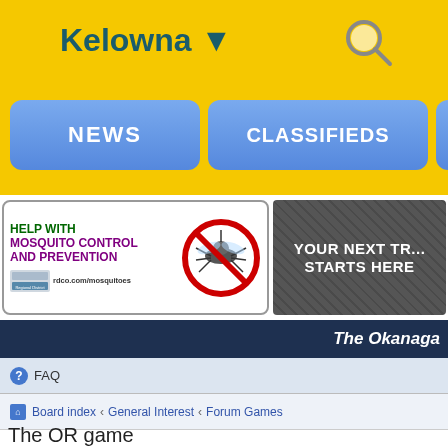Kelowna ▼
NEWS
CLASSIFIEDS
OU
[Figure (illustration): Help with Mosquito Control and Prevention ad banner with mosquito no-sign graphic and rdco.com/mosquitoes URL]
[Figure (illustration): YOUR NEXT TR... STARTS HERE travel ad banner on dark textured background]
The Okanaga
FAQ
Board index · General Interest · Forum Games
The OR game